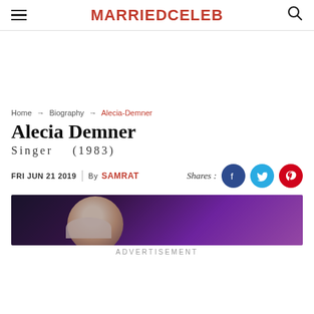MARRIEDCELEB
Home → Biography → Alecia-Demner
Alecia Demner
Singer   (1983)
FRI JUN 21 2019 | By SAMRAT
Shares:
[Figure (photo): Photo of Alecia Demner performing on stage with purple background]
ADVERTISEMENT